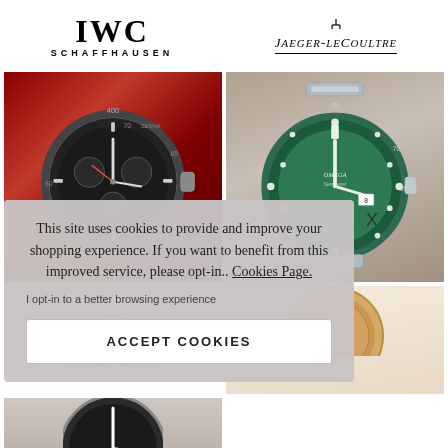[Figure (logo): IWC Schaffhausen logo - bold serif IWC text with SCHAFFHAUSEN below in spaced caps]
[Figure (logo): Jaeger-LeCoultre logo with decorative top element and italic brand name with underline]
[Figure (photo): Chronograph watch on red background, dark dial with tachymeter bezel]
[Figure (photo): Omega Seamaster watch with green dial and bezel on grey background]
This site uses cookies to provide and improve your shopping experience. If you want to benefit from this improved service, please opt-in.. Cookies Page.
I opt-in to a better browsing experience
ACCEPT COOKIES
[Figure (logo): Omega logo with red Omega symbol and MEGA text in red]
[Figure (photo): Partial watch image at bottom left]
[Figure (photo): Partial watch image at bottom right]